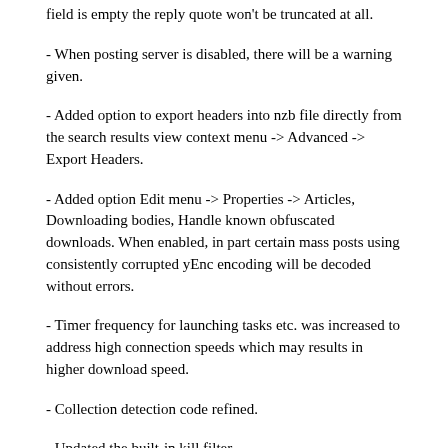field is empty the reply quote won't be truncated at all.
- When posting server is disabled, there will be a warning given.
- Added option to export headers into nzb file directly from the search results view context menu -> Advanced -> Export Headers.
- Added option Edit menu -> Properties -> Articles, Downloading bodies, Handle known obfuscated downloads. When enabled, in part certain mass posts using consistently corrupted yEnc encoding will be decoded without errors.
- Timer frequency for launching tasks etc. was increased to address high connection speeds which may results in higher download speed.
- Collection detection code refined.
- Updated the built-in kill filter.
- SSL library updated.